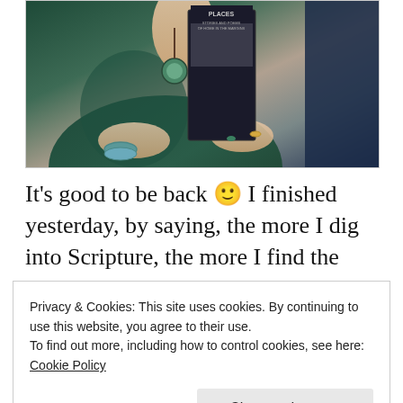[Figure (photo): A woman in a teal/dark green lace dress holding a dark book titled with 'PLACES' visible on the cover. She wears a green pendant necklace, turquoise bracelet, and rings. The photo is cropped to show her torso and hands.]
It's good to be back 🙂 I finished yesterday, by saying, the more I dig into Scripture, the more I find the most starkly honest writings there poured out for all to
Privacy & Cookies: This site uses cookies. By continuing to use this website, you agree to their use.
To find out more, including how to control cookies, see here:
Cookie Policy
much as songs of praise.